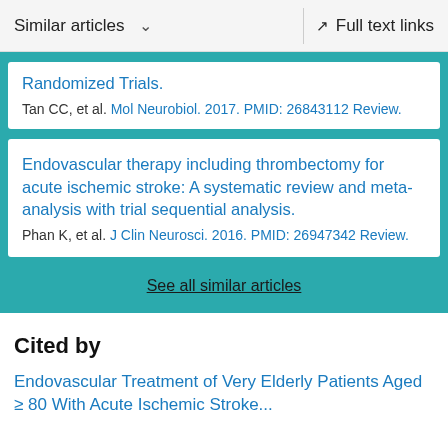Similar articles  ∨    Full text links
Randomized Trials.
Tan CC, et al. Mol Neurobiol. 2017. PMID: 26843112 Review.
Endovascular therapy including thrombectomy for acute ischemic stroke: A systematic review and meta-analysis with trial sequential analysis.
Phan K, et al. J Clin Neurosci. 2016. PMID: 26947342 Review.
See all similar articles
Cited by
Endovascular Treatment of Very Elderly Patients Aged ≥ 80 With Acute Ischemic Stroke...